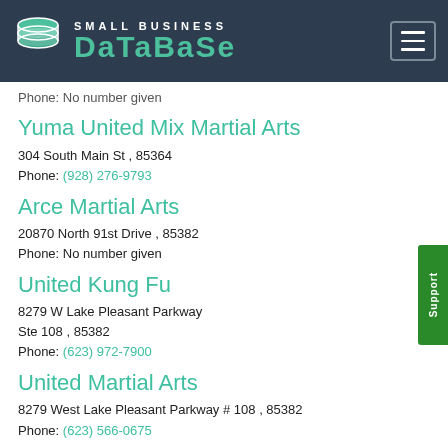SMALL BUSINESS DATABASE
Phone: No number given
Yuma United Mix Martial Arts
304 South Main St , 85364
Phone: (928) 276-9793
Arce Martial Arts
20870 North 91st Drive , 85382
Phone: No number given
United Kung Fu
8279 W Lake Pleasant Parkway Ste 108 , 85382
Phone: (623) 972-7900
United Martial Arts
8279 West Lake Pleasant Parkway # 108 , 85382
Phone: (623) 566-0675